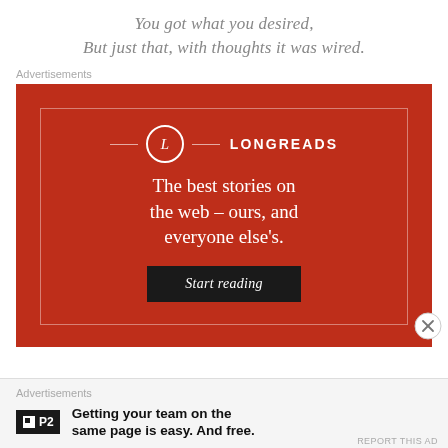You got what you desired,
But just that, with thoughts it was wired.
Advertisements
[Figure (other): Longreads advertisement banner on red background with logo circle, tagline 'The best stories on the web – ours, and everyone else's.' and a 'Start reading' button]
Advertisements
[Figure (other): P2 advertisement: black P2 logo with checkbox icon and bold text 'Getting your team on the same page is easy. And free.']